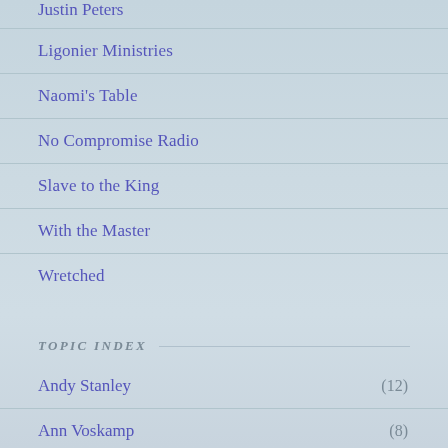Justin Peters
Ligonier Ministries
Naomi's Table
No Compromise Radio
Slave to the King
With the Master
Wretched
TOPIC INDEX
Andy Stanley (12)
Ann Voskamp (8)